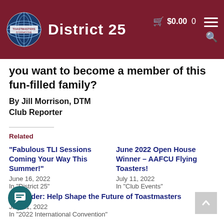Toastmasters International District 25 | $0.00
you want to become a member of this fun-filled family?
By Jill Morrison, DTM
Club Reporter
Related
“Fabulous TLI Sessions Coming Your Way This Summer!”
June 16, 2022
In "District 25"
June 2022 Open House Winner – AAFCU Flying Toasters!
July 11, 2022
In "Club Events"
Reminder: Help Shape the Future of Toastmasters
July 11, 2022
In "2022 International Convention"